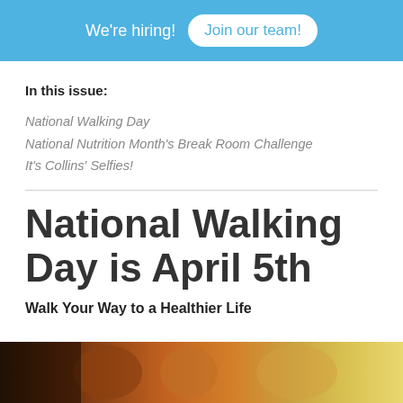We're hiring! Join our team!
In this issue:
National Walking Day
National Nutrition Month's Break Room Challenge
It's Collins' Selfies!
National Walking Day is April 5th
Walk Your Way to a Healthier Life
[Figure (photo): Close-up photo of legs/feet of a person walking outdoors, warm tones with sunlight]